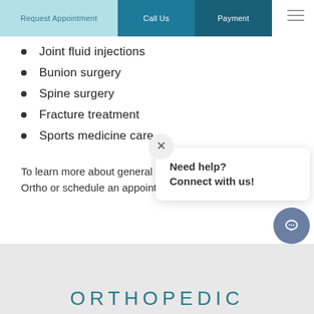Request Appointment | Call Us | Payment
Joint fluid injections
Bunion surgery
Spine surgery
Fracture treatment
Sports medicine care
To learn more about general orthopedics, call Coastal Ortho or schedule an appointment online today.
[Figure (screenshot): Chat popup with close (X) button and text 'Need help? Connect with us!' and a circular chat icon button below]
ORTHOPEDIC